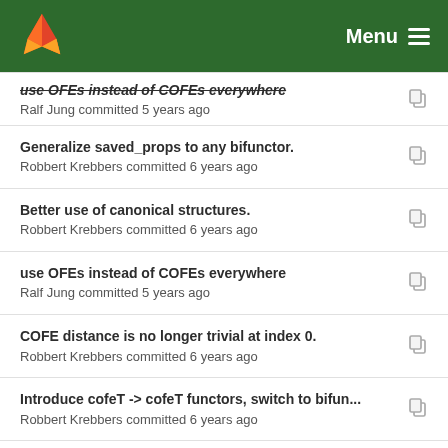Menu
use OFEs instead of COFEs everywhere
Ralf Jung committed 5 years ago
Generalize saved_props to any bifunctor.
Robbert Krebbers committed 6 years ago
Better use of canonical structures.
Robbert Krebbers committed 6 years ago
use OFEs instead of COFEs everywhere
Ralf Jung committed 5 years ago
COFE distance is no longer trivial at index 0.
Robbert Krebbers committed 6 years ago
Introduce cofeT -> cofeT functors, switch to bifun...
Robbert Krebbers committed 6 years ago
Add both non-expansive and contractive functors,...
Ralf Jung committed 6 years ago